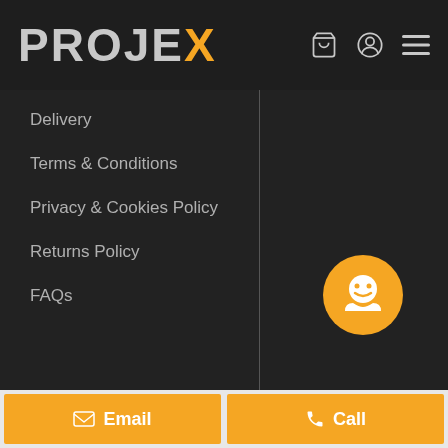PROJEX
Delivery
Terms & Conditions
Privacy & Cookies Policy
Returns Policy
FAQs
[Figure (illustration): Orange circular chat/support button with white smiley face icon]
Email
Call